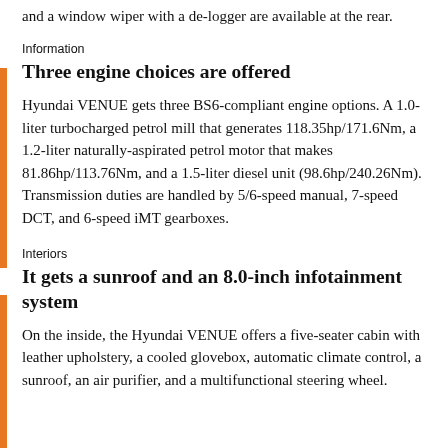and a window wiper with a de-logger are available at the rear.
Information
Three engine choices are offered
Hyundai VENUE gets three BS6-compliant engine options. A 1.0-liter turbocharged petrol mill that generates 118.35hp/171.6Nm, a 1.2-liter naturally-aspirated petrol motor that makes 81.86hp/113.76Nm, and a 1.5-liter diesel unit (98.6hp/240.26Nm). Transmission duties are handled by 5/6-speed manual, 7-speed DCT, and 6-speed iMT gearboxes.
Interiors
It gets a sunroof and an 8.0-inch infotainment system
On the inside, the Hyundai VENUE offers a five-seater cabin with leather upholstery, a cooled glovebox, automatic climate control, a sunroof, an air purifier, and a multifunctional steering wheel.